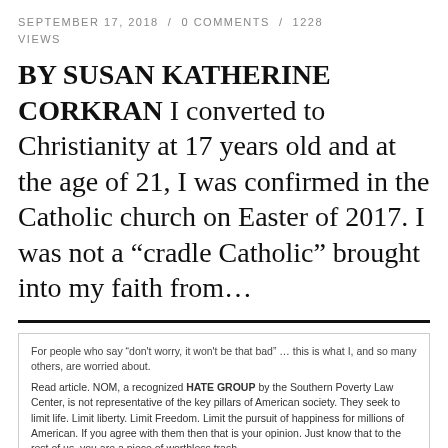SEPTEMBER 17, 2018 / 0 COMMENTS / 1228 VIEWS
BY SUSAN KATHERINE CORKRAN I converted to Christianity at 17 years old and at the age of 21, I was confirmed in the Catholic church on Easter of 2017. I was not a “cradle Catholic” brought into my faith from…
[Figure (screenshot): Embedded social media post showing text about NOM being a hate group and a link card titled 'NOMblog: The Plan' with an image of a person at a podium with text 'MA'S GEN ANITY MU E STOPPE']
BUNTING-GATE